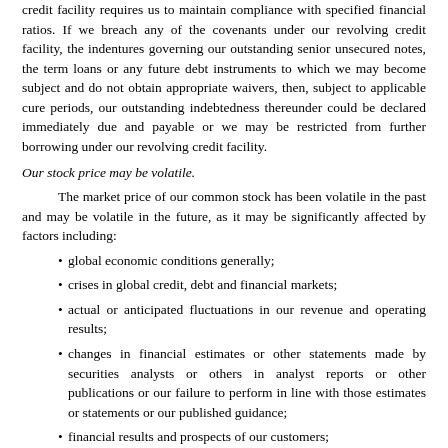credit facility requires us to maintain compliance with specified financial ratios. If we breach any of the covenants under our revolving credit facility, the indentures governing our outstanding senior unsecured notes, the term loans or any future debt instruments to which we may become subject and do not obtain appropriate waivers, then, subject to applicable cure periods, our outstanding indebtedness thereunder could be declared immediately due and payable or we may be restricted from further borrowing under our revolving credit facility.
Our stock price may be volatile.
The market price of our common stock has been volatile in the past and may be volatile in the future, as it may be significantly affected by factors including:
global economic conditions generally;
crises in global credit, debt and financial markets;
actual or anticipated fluctuations in our revenue and operating results;
changes in financial estimates or other statements made by securities analysts or others in analyst reports or other publications or our failure to perform in line with those estimates or statements or our published guidance;
financial results and prospects of our customers;
U.S. and foreign government actions;
changes in market valuations of other semiconductor companies;
rumors and speculation in the press, investment community or on social media about us, our customers or other companies in our industry;